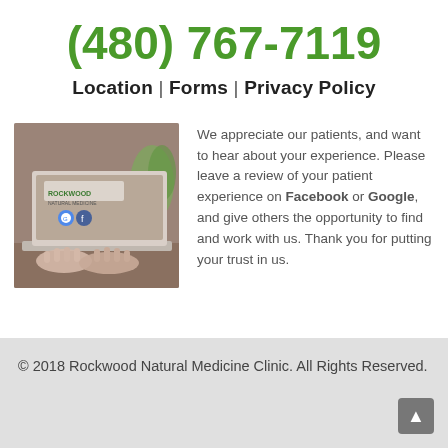(480) 767-7119
Location | Forms | Privacy Policy
[Figure (photo): Person typing on a laptop with Rockwood Natural Medicine branding visible on the screen, with a plant in the background.]
We appreciate our patients, and want to hear about your experience. Please leave a review of your patient experience on Facebook or Google, and give others the opportunity to find and work with us. Thank you for putting your trust in us.
© 2018 Rockwood Natural Medicine Clinic. All Rights Reserved.